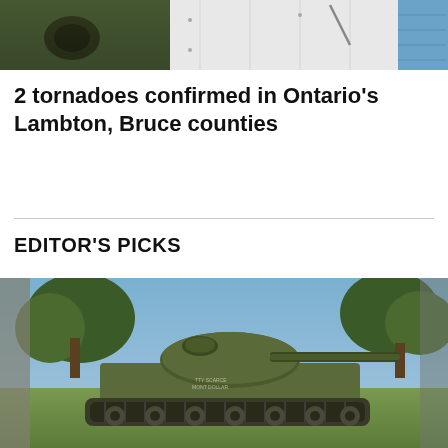[Figure (photo): Aerial photo showing tornado damage: grass with dark burn/debris mark on left, white siding/foam insulation material in center, blue building corner on right]
2 tornadoes confirmed in Ontario's Lambton, Bruce counties
EDITOR'S PICKS
[Figure (photo): A military Sherman tank on display outdoors, olive green color, with trees and grass in the background on a sunny day]